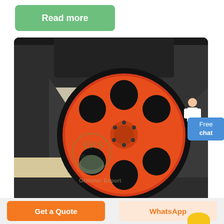Read more
[Figure (photo): Close-up photo of a jaw crusher machine showing a large red/orange flywheel pulley mounted on a dark grey steel frame structure, with belt grooves visible. The machinery is on a concrete floor. A watermark reads 'GNminer Export'.]
Free chat
svedala jm jaw crusher manual
Get a Quote
WhatsApp